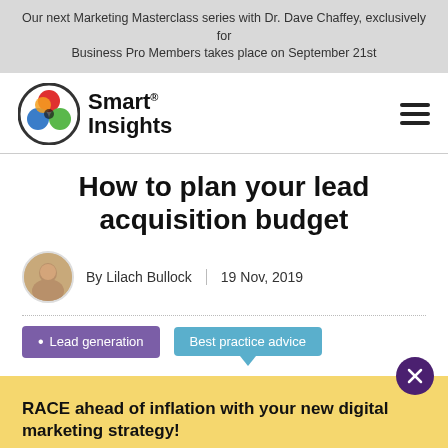Our next Marketing Masterclass series with Dr. Dave Chaffey, exclusively for Business Pro Members takes place on September 21st
[Figure (logo): Smart Insights logo with coloured circles and text]
How to plan your lead acquisition budget
By Lilach Bullock | 19 Nov, 2019
Lead generation   Best practice advice
RACE ahead of inflation with your new digital marketing strategy!
Download our 10 growth insights resource today to help grow your business.